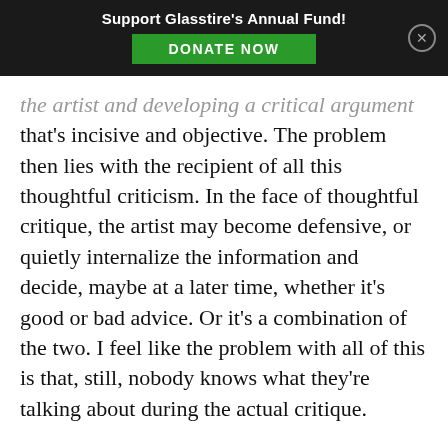Support Glasstire's Annual Fund! DONATE NOW
the artist and developing a critical argument that's incisive and objective. The problem then lies with the recipient of all this thoughtful criticism. In the face of thoughtful critique, the artist may become defensive, or quietly internalize the information and decide, maybe at a later time, whether it's good or bad advice. Or it's a combination of the two. I feel like the problem with all of this is that, still, nobody knows what they're talking about during the actual critique.

Why are we asking students to concretize a